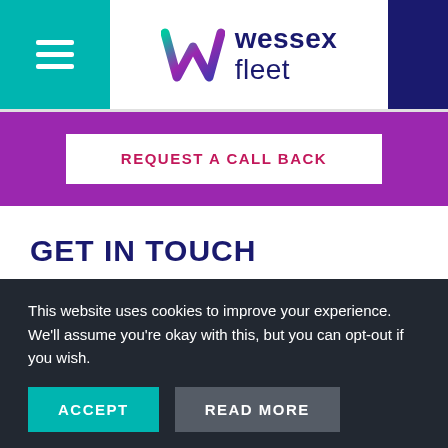[Figure (logo): Wessex Fleet logo with colorful W icon and dark navy 'wessex fleet' text]
REQUEST A CALL BACK
GET IN TOUCH
The Guild
Wilton
Salisbury
Wiltshire
This website uses cookies to improve your experience. We'll assume you're okay with this, but you can opt-out if you wish.
ACCEPT
READ MORE